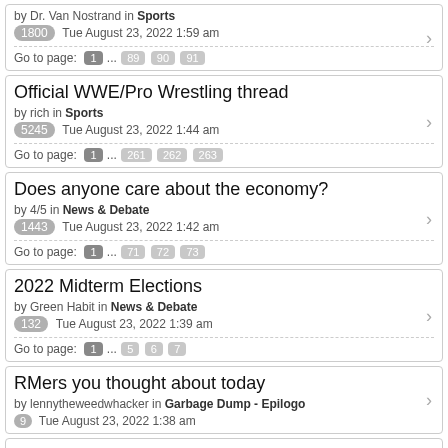by Dr. Van Nostrand in Sports
1800 Tue August 23, 2022 1:59 am
Go to page: 1 ... 89 90 91
Official WWE/Pro Wrestling thread
by rich in Sports
5245 Tue August 23, 2022 1:44 am
Go to page: 1 ... 261 262 263
Does anyone care about the economy?
by 4/5 in News & Debate
1443 Tue August 23, 2022 1:42 am
Go to page: 1 ... 71 72 73
2022 Midterm Elections
by Green Habit in News & Debate
132 Tue August 23, 2022 1:39 am
Go to page: 1 ... 5 6 7
RMers you thought about today
by lennytheweedwhacker in Garbage Dump - Epilogo
9 Tue August 23, 2022 1:38 am
SMM